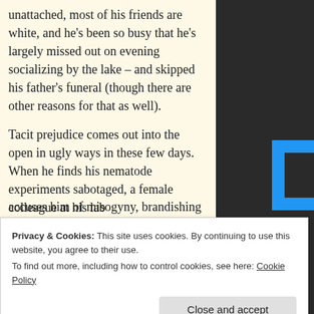unattached, most of his friends are white, and he's been so busy that he's largely missed out on evening socializing by the lake – and skipped his father's funeral (though there are other reasons for that as well).
Tacit prejudice comes out into the open in ugly ways in these few days. When he finds his nematode experiments sabotaged, a female colleague at his lab accuses him of misogyny, brandishing
[Figure (photo): Dark right column with a blue L-shaped graphic element and partial text 'Br' visible]
Privacy & Cookies: This site uses cookies. By continuing to use this website, you agree to their use.
To find out more, including how to control cookies, see here: Cookie Policy
Close and accept